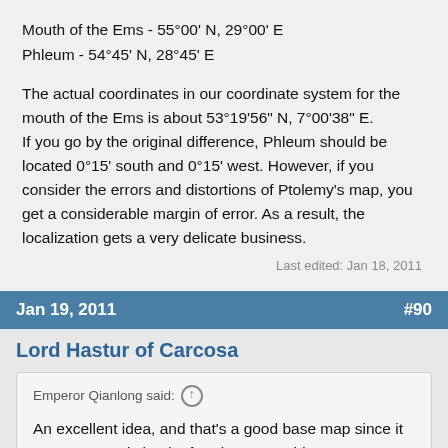Mouth of the Ems - 55°00' N, 29°00' E
Phleum - 54°45' N, 28°45' E
The actual coordinates in our coordinate system for the mouth of the Ems is about 53°19'56" N, 7°00'38" E.
If you go by the original difference, Phleum should be located 0°15' south and 0°15' west. However, if you consider the errors and distortions of Ptolemy's map, you get a considerable margin of error. As a result, the localization gets a very delicate business.
Last edited: Jan 18, 2011
Jan 19, 2011  #90
Lord Hastur of Carcosa
Emperor Qianlong said:
An excellent idea, and that's a good base map since it covers a good chunk of Ptolemy's world map. However, a